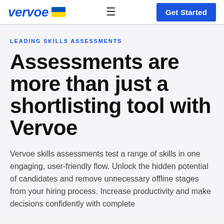vervoe | Get Started
LEADING SKILLS ASSESSMENTS
Assessments are more than just a shortlisting tool with Vervoe
Vervoe skills assessments test a range of skills in one engaging, user-friendly flow. Unlock the hidden potential of candidates and remove unnecessary offline stages from your hiring process. Increase productivity and make decisions confidently with complete